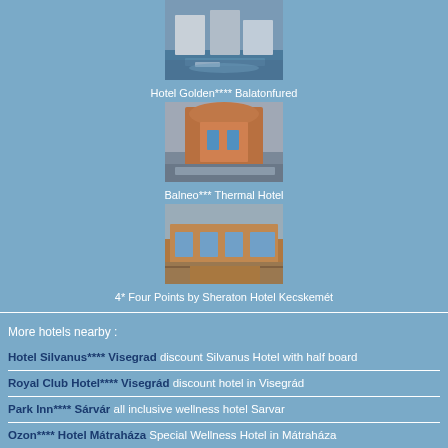[Figure (photo): Photo of Hotel Golden**** Balatonfured, a waterfront building with boats]
Hotel Golden**** Balatonfured
[Figure (photo): Photo of Balneo*** Thermal Hotel, a modern curved building]
Balneo*** Thermal Hotel
[Figure (photo): Photo of 4* Four Points by Sheraton Hotel Kecskemét, a modern hotel exterior]
4* Four Points by Sheraton Hotel Kecskemét
More hotels nearby :
Hotel Silvanus**** Visegrad discount Silvanus Hotel with half board
Royal Club Hotel**** Visegrád discount hotel in Visegrád
Park Inn**** Sárvár all inclusive wellness hotel Sarvar
Ozon**** Hotel Mátraháza Special Wellness Hotel in Mátraháza